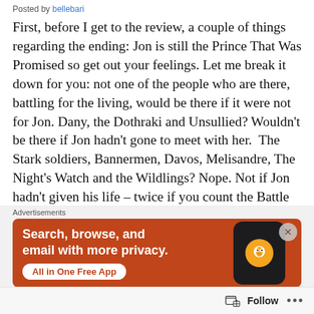Posted by bellebari
First, before I get to the review, a couple of things regarding the ending: Jon is still the Prince That Was Promised so get out your feelings. Let me break it down for you: not one of the people who are there, battling for the living, would be there if it were not for Jon. Dany, the Dothraki and Unsullied? Wouldn't be there if Jon hadn't gone to meet with her.  The Stark soldiers, Bannermen, Davos, Melisandre, The Night's Watch and the Wildlings? Nope. Not if Jon hadn't given his life – twice if you count the Battle of the Bastards – to save them. Sansa? Nope, if Jon hadn't committed to fighting for her... Stark A...
[Figure (screenshot): DuckDuckGo advertisement banner with orange background showing 'Search, browse, and email with more privacy.' with 'All in One Free App' call-to-action button and phone graphic with DuckDuckGo logo]
Follow ...